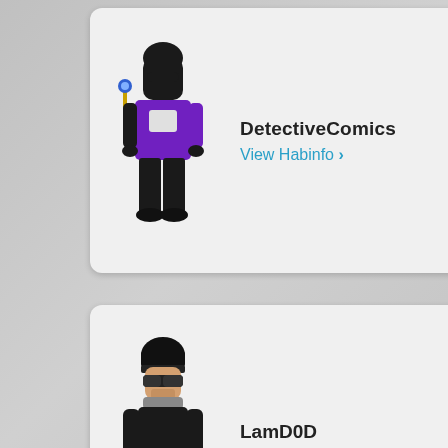[Figure (screenshot): User profile card for DetectiveComics showing a pixel-art avatar (black ninja character in purple jacket) with username and View Habinfo link]
DetectiveComics
View Habinfo >
[Figure (screenshot): User profile card for LamD0D showing a pixel-art avatar (character in black outfit with hat and glasses, bare feet) with username and View Habinfo link]
LamD0D
View Habinfo >
[Figure (screenshot): User profile card for eDragonite showing a pixel-art avatar (character with dreadlocks, glasses, chain necklace, red jacket, black pants) with username and View Habinfo link]
eDragonite
View Habinfo >
[Figure (screenshot): User profile card for I?salty?! showing a pixel-art avatar (character with blonde hair and goggles) with username and View Habinfo link, partially visible]
I?salty?!
View Habinfo >